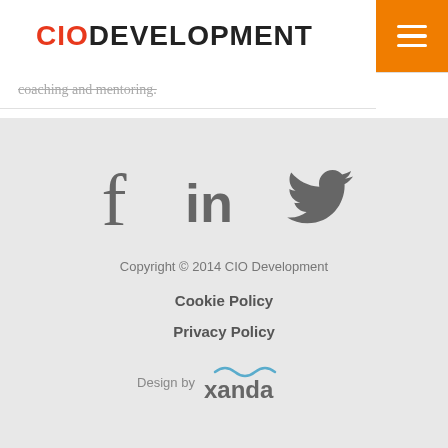CIO DEVELOPMENT
coaching and mentoring.
[Figure (other): Social media icons for Facebook, LinkedIn, and Twitter in grey]
Copyright © 2014 CIO Development
Cookie Policy
Privacy Policy
[Figure (logo): Design by xanda logo with wave accent above xanda text]